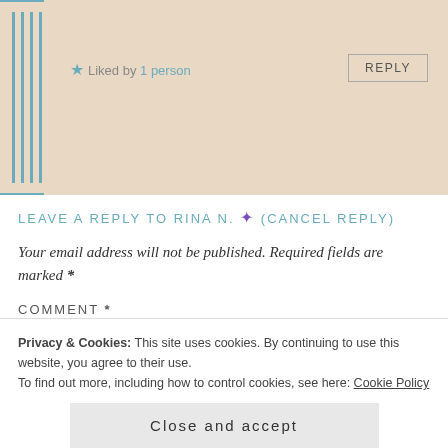[Figure (illustration): Decorative tan/beige panel with blue vertical lines on the left side and a comment section background]
★ Liked by 1 person
REPLY
LEAVE A REPLY TO RINA N. ✦ (CANCEL REPLY)
Your email address will not be published. Required fields are marked *
COMMENT *
Privacy & Cookies: This site uses cookies. By continuing to use this website, you agree to their use.
To find out more, including how to control cookies, see here: Cookie Policy
Close and accept